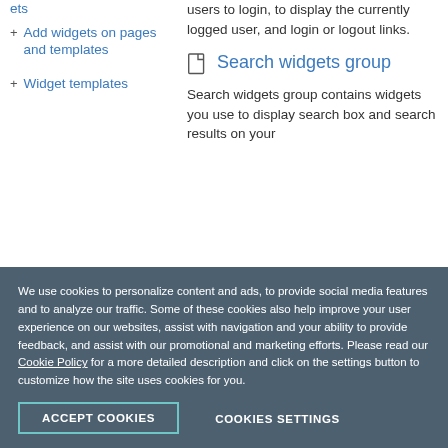ets
+ Add widgets on pages and templates
+ Widget templates
users to login, to display the currently logged user, and login or logout links.
Search widgets group
Search widgets group contains widgets you use to display search box and search results on your
We use cookies to personalize content and ads, to provide social media features and to analyze our traffic. Some of these cookies also help improve your user experience on our websites, assist with navigation and your ability to provide feedback, and assist with our promotional and marketing efforts. Please read our Cookie Policy for a more detailed description and click on the settings button to customize how the site uses cookies for you.
ACCEPT COOKIES
COOKIES SETTINGS